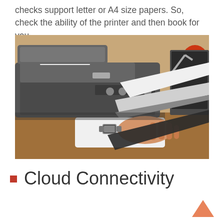checks support letter or A4 size papers. So, check the ability of the printer and then book for you.
[Figure (photo): A person in a white shirt and watch is loading paper into a gray office printer/copier machine on a desk.]
Cloud Connectivity